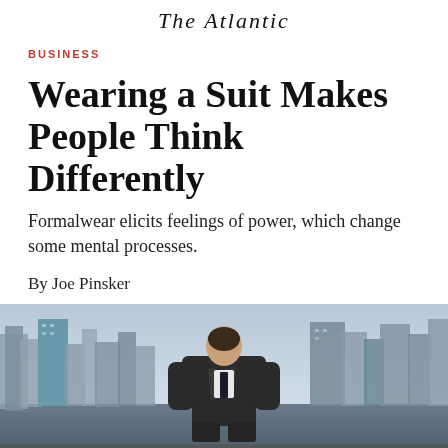The Atlantic
BUSINESS
Wearing a Suit Makes People Think Differently
Formalwear elicits feelings of power, which change some mental processes.
By Joe Pinsker
[Figure (photo): Man in a suit viewed from behind, standing in front of a city skyline with tall skyscrapers]